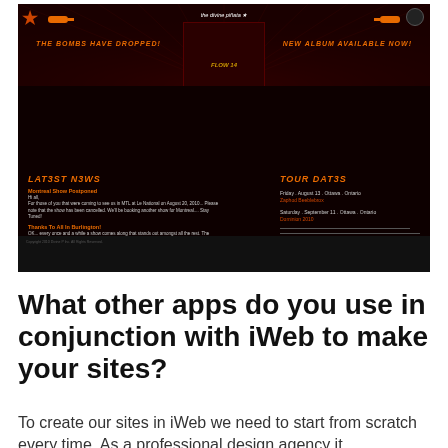[Figure (screenshot): Screenshot of a dark-themed band website for 'The Divine Piñata' with orange/red styling, showing Latest News section and Tour Dates section on a black/dark red background with sunray design elements.]
What other apps do you use in conjunction with iWeb to make your sites?
To create our sites in iWeb we need to start from scratch every time. As a professional design agency it